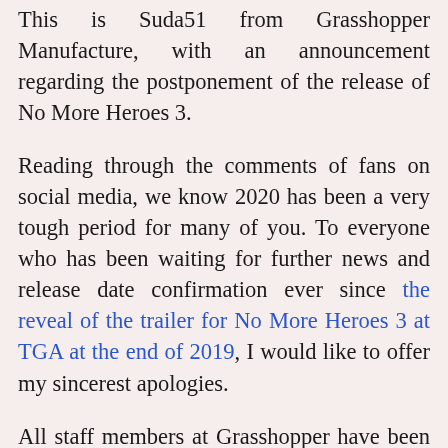This is Suda51 from Grasshopper Manufacture, with an announcement regarding the postponement of the release of No More Heroes 3.
Reading through the comments of fans on social media, we know 2020 has been a very tough period for many of you. To everyone who has been waiting for further news and release date confirmation ever since the reveal of the trailer for No More Heroes 3 at TGA at the end of 2019, I would like to offer my sincerest apologies.
All staff members at Grasshopper have been working as hard as possible on developing the game in hopes of releasing it in 2020, but the effects of the COVID-19 pandemic have unfortunately proven to be a real body blow to our schedule, causing unforeseen delays in development. Now that we have managed to get back on our feet with development, we have decided to focus on prioritizing quality, and to therefore push back the final release date.